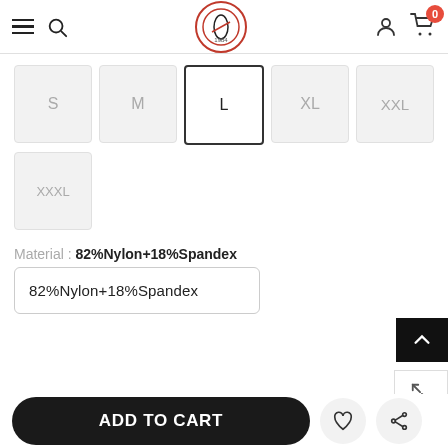Navigation bar with hamburger menu, search icon, logo, user icon, cart with badge 0
S
M
L (selected)
XL
XXL
XXXL
Material : 82%Nylon+18%Spandex
82%Nylon+18%Spandex
ADD TO CART